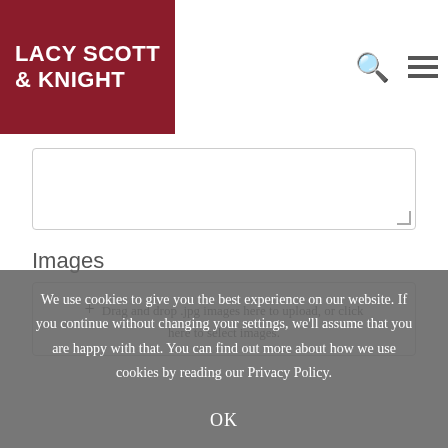[Figure (logo): Lacy Scott & Knight logo — white text on dark red background]
Drag and drop .jpg images here to upload, or click here to select images.
Images
We use cookies to give you the best experience on our website. If you continue without changing your settings, we'll assume that you are happy with that. You can find out more about how we use cookies by reading our Privacy Policy.
OK